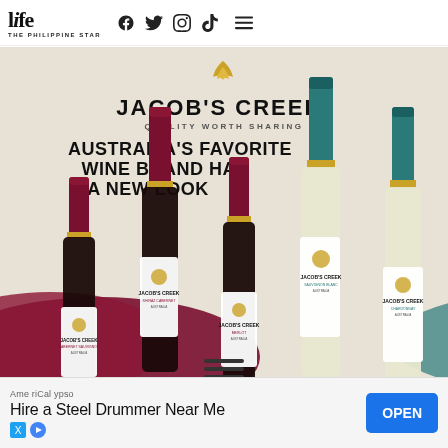life THE PHILIPPINE STAR
[Figure (photo): Jacob's Creek wine brand advertisement showing five wine bottles (red and white varieties) with teal and dark red caps on a beige background with dark red wave accents. Text reads: JACOB'S CREEK, QUALITY WORTH SHARING, AUSTRALIA'S FAVORITE WINE BRAND HAS A NEW LOOK. Gold flame logo at top.]
AmeriCalypso Hire a Steel Drummer Near Me OPEN